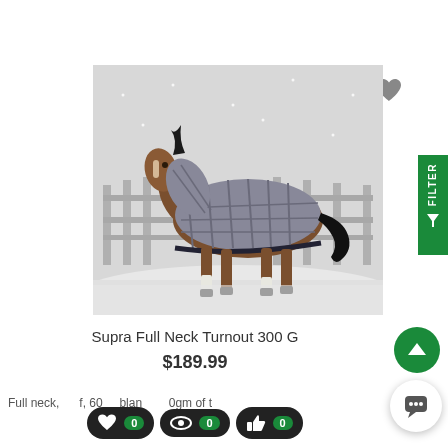[Figure (photo): A horse wearing a grey plaid full neck turnout rug/blanket, trotting in a snowy outdoor arena with wooden fencing in the background.]
Supra Full Neck Turnout 300 G
$189.99
Full neck, f, 600 blan 0gm of t